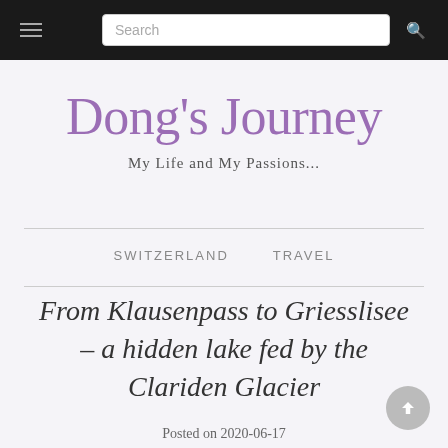Search
Dong's Journey
My Life and My Passions...
SWITZERLAND   TRAVEL
From Klausenpass to Griesslisee – a hidden lake fed by the Clariden Glacier
Posted on 2020-06-17